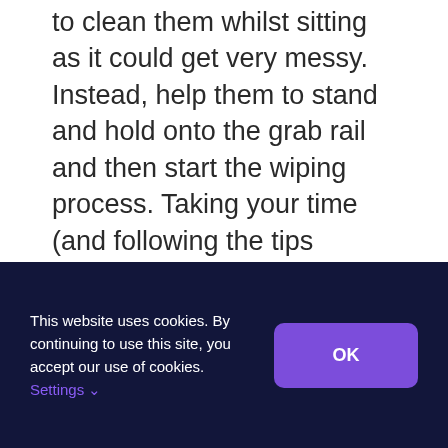to clean them whilst sitting as it could get very messy. Instead, help them to stand and hold onto the grab rail and then start the wiping process. Taking your time (and following the tips above) until they're clean.
7. Once their skin is dry, help them redress.
What if they become agitated or angry?
This website uses cookies. By continuing to use this site, you accept our use of cookies. Settings ∨